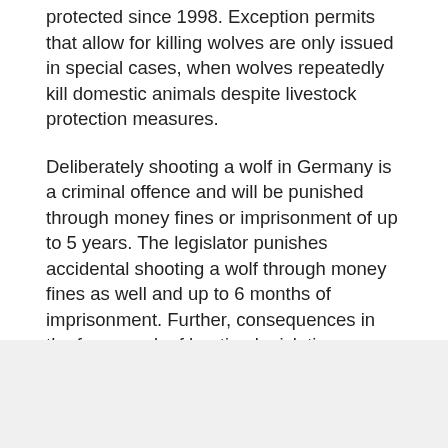protected since 1998. Exception permits that allow for killing wolves are only issued in special cases, when wolves repeatedly kill domestic animals despite livestock protection measures.
Deliberately shooting a wolf in Germany is a criminal offence and will be punished through money fines or imprisonment of up to 5 years. The legislator punishes accidental shooting a wolf through money fines as well and up to 6 months of imprisonment. Further, consequences in the framework of hunting legislation are possible, such as withdrawal of the hunting licence or prohibition of hunting.